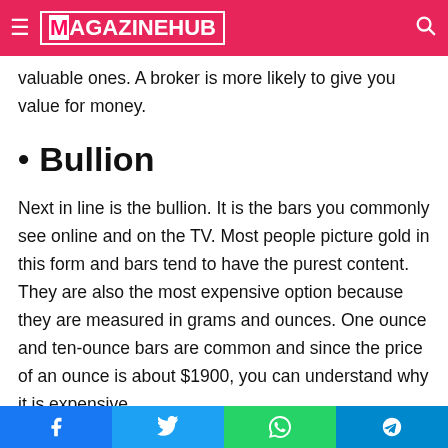MAGAZINEHUB
valuable ones. A broker is more likely to give you value for money.
Bullion
Next in line is the bullion. It is the bars you commonly see online and on the TV. Most people picture gold in this form and bars tend to have the purest content. They are also the most expensive option because they are measured in grams and ounces. One ounce and ten-ounce bars are common and since the price of an ounce is about $1900, you can understand why it is expensive.
However, it is a safe option, although you have to figure out
Facebook Twitter WhatsApp Telegram